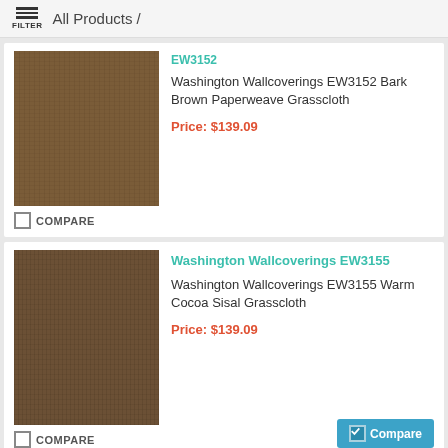FILTER  All Products /
[Figure (photo): Bark brown paperweave grasscloth textile swatch - dark brown woven texture]
Washington Wallcoverings EW3152 Bark Brown Paperweave Grasscloth
Price: $139.09
COMPARE
[Figure (photo): Warm cocoa sisal grasscloth textile swatch - medium brown woven texture]
Washington Wallcoverings EW3155
Washington Wallcoverings EW3155 Warm Cocoa Sisal Grasscloth
Price: $139.09
COMPARE
[Figure (photo): Third wallcovering product swatch - brown woven texture, partially visible]
Washington Wallcoverings